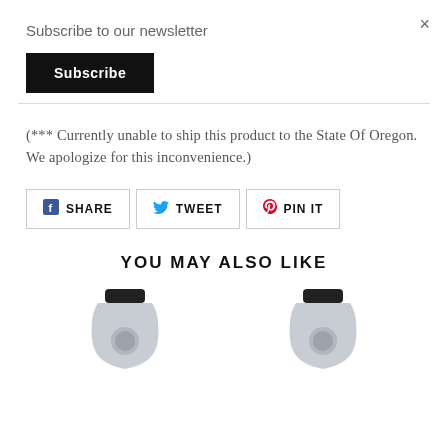×
Subscribe to our newsletter
Subscribe
(*** Currently unable to ship this product to the State Of Oregon. We apologize for this inconvenience.)
f SHARE   TWEET   PIN IT
YOU MAY ALSO LIKE
[Figure (photo): Two bottle product images shown side by side at the bottom of the page]